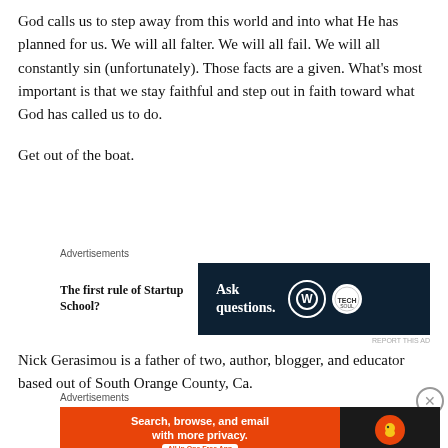God calls us to step away from this world and into what He has planned for us. We will all falter. We will all fail. We will all constantly sin (unfortunately). Those facts are a given. What’s most important is that we stay faithful and step out in faith toward what God has called us to do.

Get out of the boat.
[Figure (screenshot): Advertisement block with text 'The first rule of Startup School?' on the left and a dark navy banner reading 'Ask questions.' with WordPress and Tech Soul logos on the right.]
Nick Gerasimou is a father of two, author, blogger, and educator based out of South Orange County, Ca.
[Figure (screenshot): Advertisement banner: orange section reading 'Search, browse, and email with more privacy. All in One Free App' and dark section with DuckDuckGo logo.]